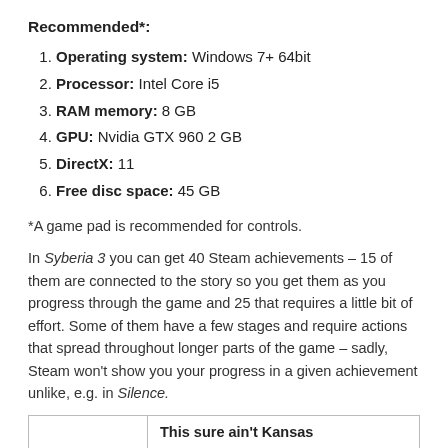Recommended*:
Operating system: Windows 7+ 64bit
Processor: Intel Core i5
RAM memory: 8 GB
GPU: Nvidia GTX 960 2 GB
DirectX: 11
Free disc space: 45 GB
*A game pad is recommended for controls.
In Syberia 3 you can get 40 Steam achievements – 15 of them are connected to the story so you get them as you progress through the game and 25 that requires a little bit of effort. Some of them have a few stages and require actions that spread throughout longer parts of the game – sadly, Steam won't show you your progress in a given achievement unlike, e.g. in Silence.
|  | This sure ain't Kansas |
| --- | --- |